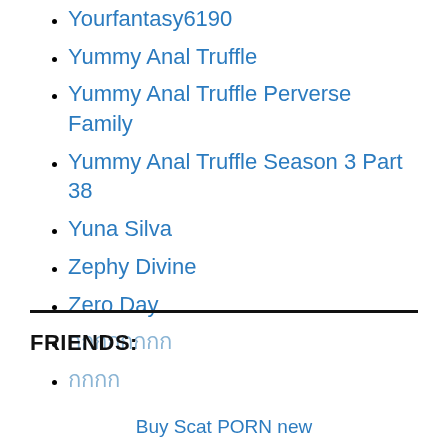Yourfantasy6190
Yummy Anal Truffle
Yummy Anal Truffle Perverse Family
Yummy Anal Truffle Season 3 Part 38
Yuna Silva
Zephy Divine
Zero Day
กกกกกกกก
กกกก
FRIENDS:
Buy Scat PORN new